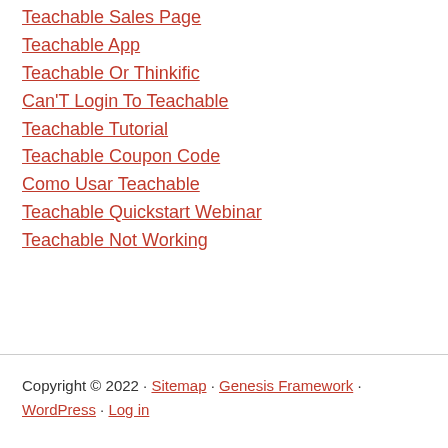Teachable Sales Page
Teachable App
Teachable Or Thinkific
Can'T Login To Teachable
Teachable Tutorial
Teachable Coupon Code
Como Usar Teachable
Teachable Quickstart Webinar
Teachable Not Working
Copyright © 2022 · Sitemap · Genesis Framework · WordPress · Log in